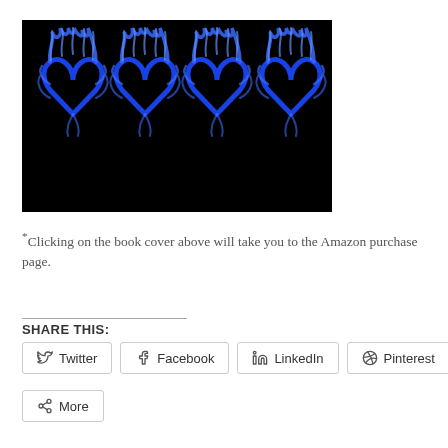[Figure (illustration): Four blue flaming hearts on a black background, arranged in a row — book cover image]
*Clicking on the book cover above will take you to the Amazon purchase page.
SHARE THIS:
Twitter  Facebook  LinkedIn  Pinterest  More